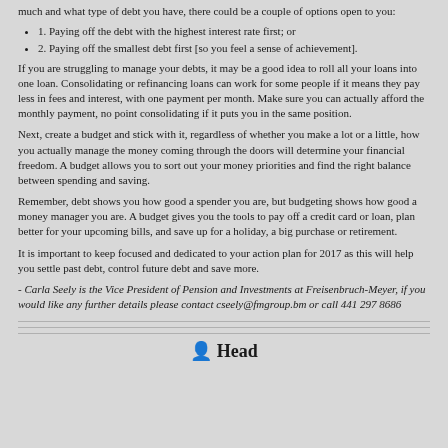much and what type of debt you have, there could be a couple of options open to you:
1. Paying off the debt with the highest interest rate first; or
2. Paying off the smallest debt first [so you feel a sense of achievement].
If you are struggling to manage your debts, it may be a good idea to roll all your loans into one loan. Consolidating or refinancing loans can work for some people if it means they pay less in fees and interest, with one payment per month. Make sure you can actually afford the monthly payment, no point consolidating if it puts you in the same position.
Next, create a budget and stick with it, regardless of whether you make a lot or a little, how you actually manage the money coming through the doors will determine your financial freedom. A budget allows you to sort out your money priorities and find the right balance between spending and saving.
Remember, debt shows you how good a spender you are, but budgeting shows how good a money manager you are. A budget gives you the tools to pay off a credit card or loan, plan better for your upcoming bills, and save up for a holiday, a big purchase or retirement.
It is important to keep focused and dedicated to your action plan for 2017 as this will help you settle past debt, control future debt and save more.
- Carla Seely is the Vice President of Pension and Investments at Freisenbruch-Meyer, if you would like any further details please contact cseely@fmgroup.bm or call 441 297 8686